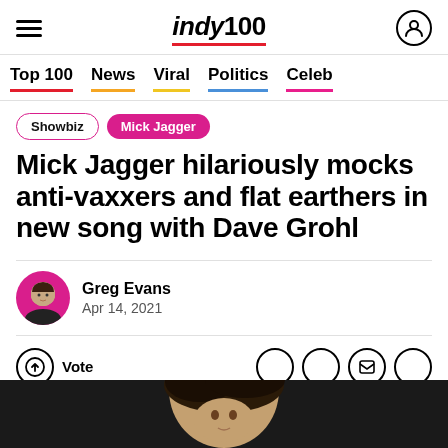indy100 — hamburger menu and user icon
Top 100 | News | Viral | Politics | Celeb
Showbiz
Mick Jagger
Mick Jagger hilariously mocks anti-vaxxers and flat earthers in new song with Dave Grohl
Greg Evans
Apr 14, 2021
[Figure (photo): Bottom strip showing a person's head/hair in dark lighting]